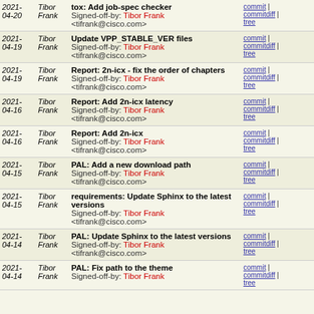| Date | Author | Commit Message | Links |
| --- | --- | --- | --- |
| 2021-04-20 | Tibor Frank | tox: Add job-spec checker
Signed-off-by: Tibor Frank <tifrank@cisco.com> | commit | commitdiff | tree |
| 2021-04-19 | Tibor Frank | Update VPP_STABLE_VER files
Signed-off-by: Tibor Frank <tifrank@cisco.com> | commit | commitdiff | tree |
| 2021-04-19 | Tibor Frank | Report: 2n-icx - fix the order of chapters
Signed-off-by: Tibor Frank <tifrank@cisco.com> | commit | commitdiff | tree |
| 2021-04-16 | Tibor Frank | Report: Add 2n-icx latency
Signed-off-by: Tibor Frank <tifrank@cisco.com> | commit | commitdiff | tree |
| 2021-04-16 | Tibor Frank | Report: Add 2n-icx
Signed-off-by: Tibor Frank <tifrank@cisco.com> | commit | commitdiff | tree |
| 2021-04-15 | Tibor Frank | PAL: Add a new download path
Signed-off-by: Tibor Frank <tifrank@cisco.com> | commit | commitdiff | tree |
| 2021-04-15 | Tibor Frank | requirements: Update Sphinx to the latest versions
Signed-off-by: Tibor Frank <tifrank@cisco.com> | commit | commitdiff | tree |
| 2021-04-14 | Tibor Frank | PAL: Update Sphinx to the latest versions
Signed-off-by: Tibor Frank <tifrank@cisco.com> | commit | commitdiff | tree |
| 2021-04-14 | Tibor Frank | PAL: Fix path to the theme
Signed-off-by: Tibor Frank | commit | commitdiff | tree |